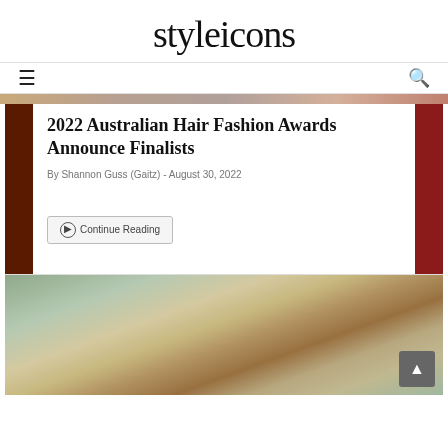styleicons
2022 Australian Hair Fashion Awards Announce Finalists
By Shannon Guss (Gaitz) - August 30, 2022
Continue Reading
[Figure (photo): Photo of a blonde woman with an updo hairstyle decorated with jewelry/accessories, against a blue-grey background]